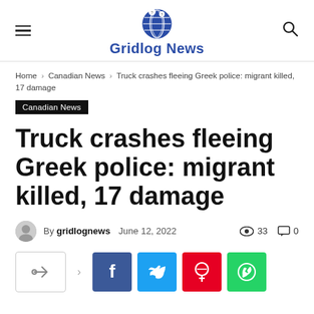Gridlog News
Home › Canadian News › Truck crashes fleeing Greek police: migrant killed, 17 damage
Canadian News
Truck crashes fleeing Greek police: migrant killed, 17 damage
By gridlognews  June 12, 2022  33  0
[Figure (other): Social share buttons: share outline, Facebook, Twitter, Pinterest, WhatsApp]